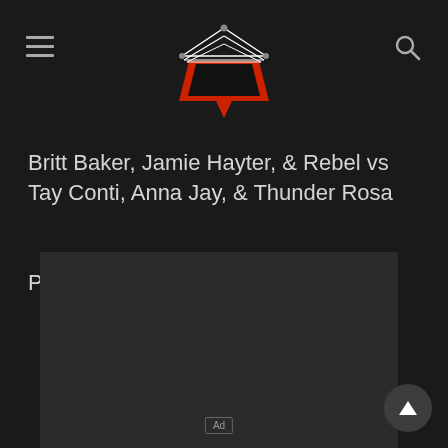Wrestling news site header with logo, hamburger menu, and search icon
Britt Baker, Jamie Hayter, & Rebel vs Tay Conti, Anna Jay, & Thunder Rosa
Pac vs Dax Harwood
[Figure (other): Advertisement placeholder box with 'Ad' label]